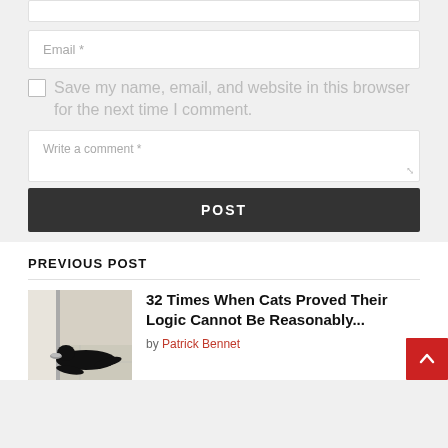Email *
Save my name, email, and website in this browser for the next time I comment.
Write a comment *
POST
PREVIOUS POST
32 Times When Cats Proved Their Logic Cannot Be Reasonably...
by Patrick Bennet
[Figure (photo): Black cat lying flat on a tiled floor near a door]